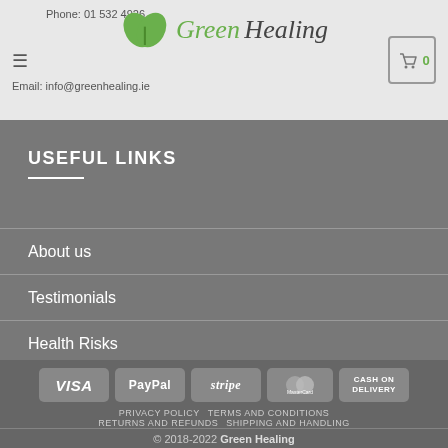Phone: 01 532 4926 | Email: info@greenhealing.ie | Green Healing
USEFUL LINKS
About us
Testimonials
Health Risks
[Figure (logo): Payment method logos: VISA, PayPal, stripe, MasterCard, CASH ON DELIVERY]
PRIVACY POLICY  TERMS AND CONDITIONS  RETURNS AND REFUNDS  SHIPPING AND HANDLING  © 2018-2022 Green Healing